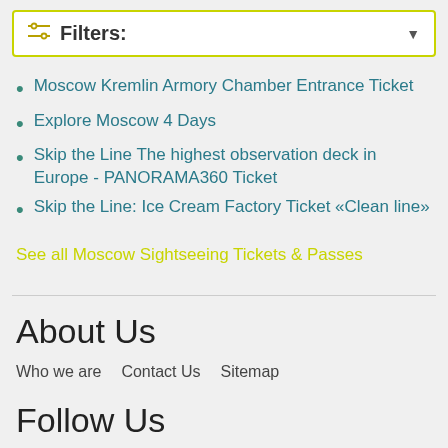[Figure (other): Filters dropdown control with filter icon and dropdown arrow, yellow-green border]
Moscow Kremlin Armory Chamber Entrance Ticket
Explore Moscow 4 Days
Skip the Line The highest observation deck in Europe - PANORAMA360 Ticket
Skip the Line: Ice Cream Factory Ticket «Clean line»
See all Moscow Sightseeing Tickets & Passes
About Us
Who we are   Contact Us   Sitemap
Follow Us